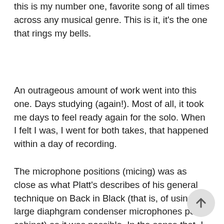this is my number one, favorite song of all times across any musical genre. This is it, it's the one that rings my bells.
An outrageous amount of work went into this one. Days studying (again!). Most of all, it took me days to feel ready again for the solo. When I felt I was, I went for both takes, that happened within a day of recording.
The microphone positions (micing) was as close as what Platt's describes of his general technique on Back in Black (that is, of using two large diaphgram condenser microphones per cabinet) as it was possible. In the sense that, I kept trying to do what he described until it sounded decent. And I think you may agree with me, this one sounds probably the closest I